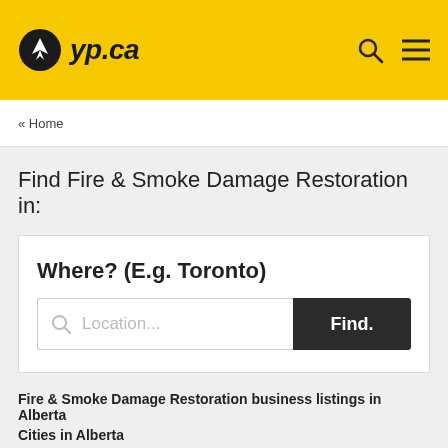yp.ca
« Home
Find Fire & Smoke Damage Restoration in:
Where? (E.g. Toronto)
Location...
Find.
Fire & Smoke Damage Restoration business listings in Alberta
Cities in Alberta